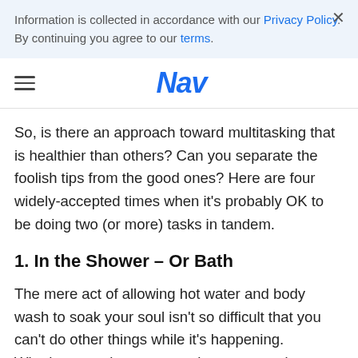Information is collected in accordance with our Privacy Policy. By continuing you agree to our terms.
Nav
So, is there an approach toward multitasking that is healthier than others? Can you separate the foolish tips from the good ones? Here are four widely-accepted times when it's probably OK to be doing two (or more) tasks in tandem.
1. In the Shower – Or Bath
The mere act of allowing hot water and body wash to soak your soul isn't so difficult that you can't do other things while it's happening. Whether you choose to catch up on a podcast, read a book, or plan out your next speaking gig, the